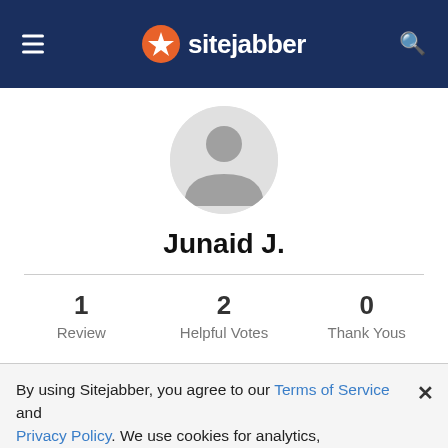sitejabber
[Figure (illustration): Default user avatar: grey circle with silhouette of a person (head and shoulders)]
Junaid J.
| 1 Review | 2 Helpful Votes | 0 Thank Yous |
| --- | --- | --- |
By using Sitejabber, you agree to our Terms of Service and Privacy Policy. We use cookies for analytics, personalization, and ads.